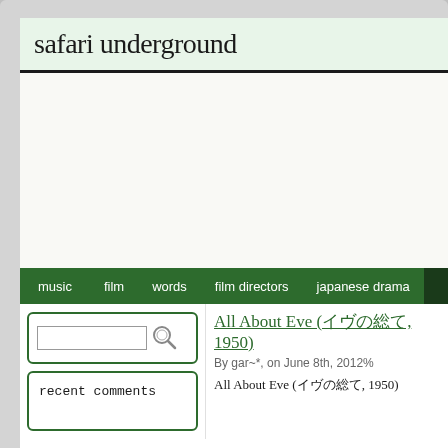safari underground
[Figure (other): Advertisement / blank area]
music   film   words   film directors   japanese drama
[Figure (other): Search box with text input and magnifying glass icon]
recent comments
All About Eve (イヴの総て, 1950)
By gar~*, on June 8th, 2012%
All About Eve (イヴの総て, 1950)